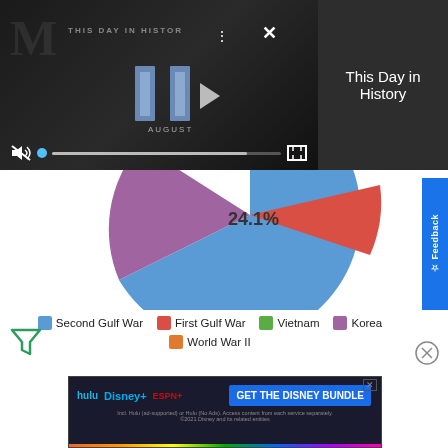[Figure (screenshot): Video player showing 'This Day in History' with playback controls, mute icon, progress bar, and fullscreen button on dark background]
This Day in History
[Figure (pie-chart): Partial pie chart visible; largest visible slice labeled 24.1% in blue (Second Gulf War), small red slice (First Gulf War), purple slice (Korea) visible at top]
Second Gulf War   First Gulf War   Vietnam   Korea   World War II
[Figure (screenshot): Advertisement for Disney Bundle featuring Hulu, Disney+, ESPN+ logos and 'GET THE DISNEY BUNDLE' call to action. Fine print: Incl. Hulu (ad-supported) or Hulu (No Ads). Access content from each service separately. ©2021 Disney and its related entities]